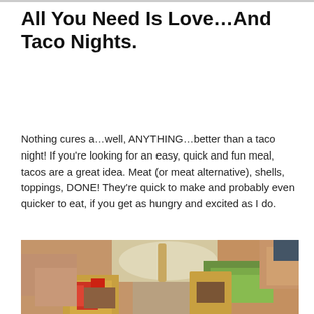All You Need Is Love…And Taco Nights.
Nothing cures a…well, ANYTHING…better than a taco night! If you're looking for an easy, quick and fun meal, tacos are a great idea. Meat (or meat alternative), shells, toppings, DONE! They're quick to make and probably even quicker to eat, if you get as hungry and excited as I do.
[Figure (photo): Hands holding tacos filled with lettuce, red pepper, and meat toppings, with a bowl of salad in the background.]